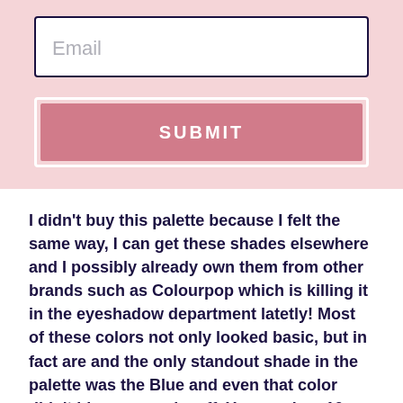Email
SUBMIT
I didn't buy this palette because I felt the same way, I can get these shades elsewhere and I possibly already own them from other brands such as Colourpop which is killing it in the eyeshadow department latetly! Most of these colors not only looked basic, but in fact are and the only standout shade in the palette was the Blue and even that color didn't blow my socks off. You can buy 10 single eyeshadows for $4 each similar to these shades or any that one may like, a large empty eyeshadow palette that holds 24 single eyeshadows